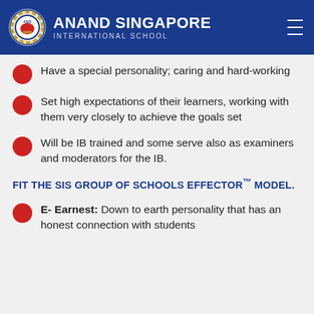ANAND SINGAPORE INTERNATIONAL SCHOOL
Have a special personality; caring and hard-working
Set high expectations of their learners, working with them very closely to achieve the goals set
Will be IB trained and some serve also as examiners and moderators for the IB.
FIT THE SIS GROUP OF SCHOOLS EFFECTOR™ MODEL.
E- Earnest: Down to earth personality that has an honest connection with students